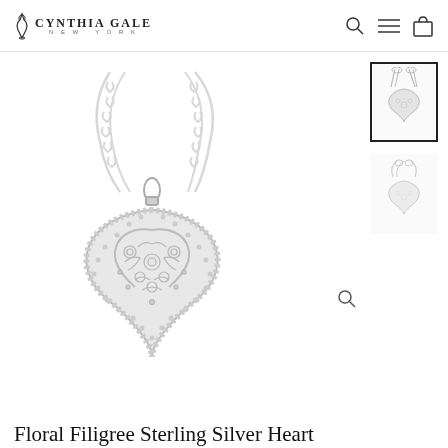CYNTHIA GALE NEW YORK
[Figure (photo): Large main product photo of a sterling silver heart pendant with floral filigree design on a chain, shown against white background]
[Figure (photo): Selected thumbnail image of the silver heart filigree pendant necklace (selected state with black border)]
[Figure (photo): Second thumbnail image of the silver heart filigree pendant necklace (unselected)]
Floral Filigree Sterling Silver Heart